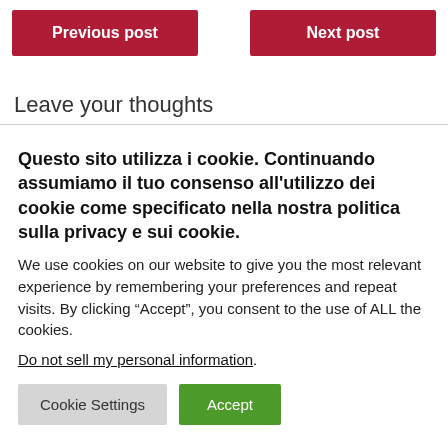Previous post
Next post
Leave your thoughts
Questo sito utilizza i cookie. Continuando assumiamo il tuo consenso all'utilizzo dei cookie come specificato nella nostra politica sulla privacy e sui cookie.
We use cookies on our website to give you the most relevant experience by remembering your preferences and repeat visits. By clicking “Accept”, you consent to the use of ALL the cookies.
Do not sell my personal information.
Cookie Settings
Accept